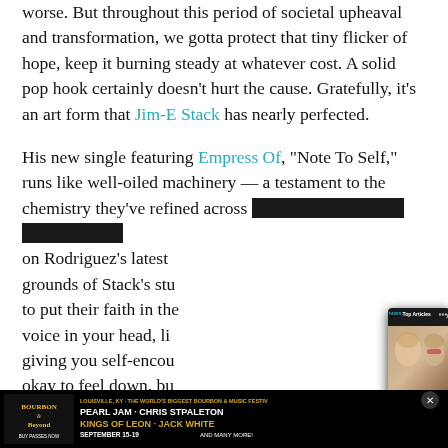worse. But throughout this period of societal upheaval and transformation, we gotta protect that tiny flicker of hope, keep it burning steady at whatever cost. A solid pop hook certainly doesn't hurt the cause. Gratefully, it's an art form that Jim-E Stack has nearly perfected.
His new single featuring Empress Of, "Note To Self," runs like well-oiled machinery — a testament to the chemistry they've refined across years of collaborating (most recently on Rodriguez's latest … grounds of Stack's stu… to put their faith in the… voice in your head, li… giving you self-encou… okay to feel down, bu… gives way to moving…
[Figure (photo): A popup overlay showing 'Top Articles' with a photo of Britney Spears and Elton John smiling together, media player controls (pause button, mute button, arrow button), FADER badge, close button (X), and a caption reading 'Britney Spears and Elton John join forces on "Hold Me Closer"']
[Figure (photo): Bourbon & Beyond festival advertisement banner at bottom of page. Black background with orange/gold text: 'LOUISVILLE, KY - THE WORLD'S BIGGEST BOURBON & MUSIC FESTIVAL', 'PEARL JAM - CHRIS STPALETON', 'KINGS OF LEON - JACK WHITE', 'SEPTEMBER 15-19', 'AND MANY MORE!'. Bourbon & Beyond logo on left. Buy passes now text. X close button.]